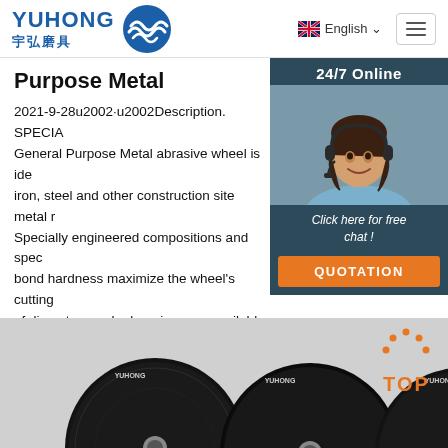YUHONG 宇弘磨具 — English
Purpose Metal
2021-9-28u2002·u2002Description. SPECIA General Purpose Metal abrasive wheel is ide iron, steel and other construction site metal r Specially engineered compositions and spec bond hardness maximize the wheel's cutting of diameters and arbor sizes are available. S details.
[Figure (photo): Customer service representative with headset, 24/7 Online chat widget with 'Click here for free chat!' and QUOTATION button]
[Figure (photo): Three dark metal abrasive cutting wheels arranged side by side, with a TOP icon in the upper right]
Get Price